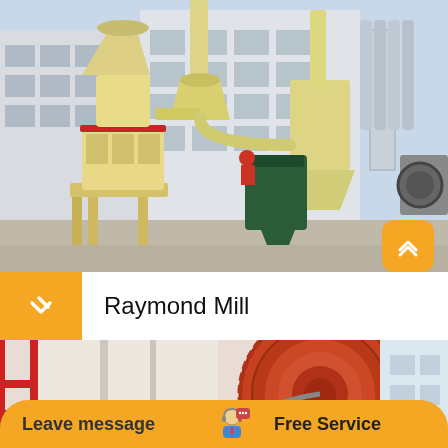[Figure (photo): Industrial Raymond Mill grinding equipment in a factory yard. A large cream/beige colored Raymond Mill machine with cylindrical body, conical top, and collection hoppers is visible in the foreground. Green collector box/chute also visible. Background shows industrial facility buildings. Other milling equipment visible on the right side.]
Raymond Mill
[Figure (photo): Close-up photo of industrial milling machine parts showing red metal framework/bracing on the left and a large orange/red ring gear (bull gear) of a mill on the right against a white building background.]
Leave message
Free Service